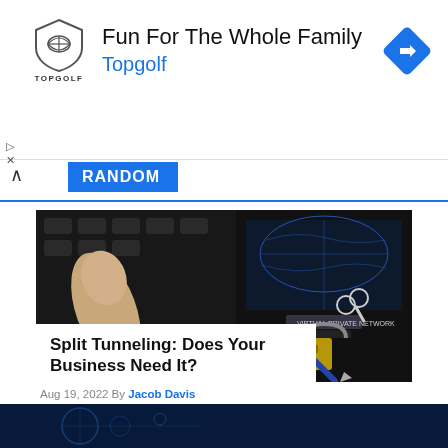[Figure (screenshot): Topgolf advertisement banner with logo shield, headline 'Fun For The Whole Family', brand name 'Topgolf', and a blue diamond direction arrow icon]
RANDOM
[Figure (photo): Composite photo showing a keyboard with a finger pressing a key, a VPN screen with world map, a padlock labeled VPN, keys on a keyboard, and a blue pen on a keyboard]
Split Tunneling: Does Your Business Need It?
Aug 19, 2022 By Jacob Davis
[Figure (photo): Partial bottom image strip showing a dark blue technology background]